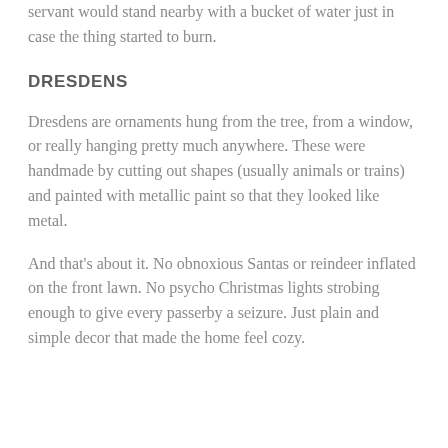servant would stand nearby with a bucket of water just in case the thing started to burn.
DRESDENS
Dresdens are ornaments hung from the tree, from a window, or really hanging pretty much anywhere. These were handmade by cutting out shapes (usually animals or trains) and painted with metallic paint so that they looked like metal.
And that’s about it. No obnoxious Santas or reindeer inflated on the front lawn. No psycho Christmas lights strobing enough to give every passerby a seizure. Just plain and simple decor that made the home feel cozy.